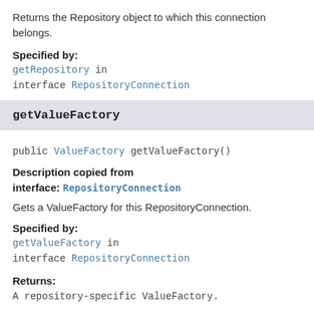Returns the Repository object to which this connection belongs.
Specified by:
getRepository in interface RepositoryConnection
getValueFactory
public ValueFactory getValueFactory()
Description copied from interface: RepositoryConnection
Gets a ValueFactory for this RepositoryConnection.
Specified by:
getValueFactory in interface RepositoryConnection
Returns:
A repository-specific ValueFactory.